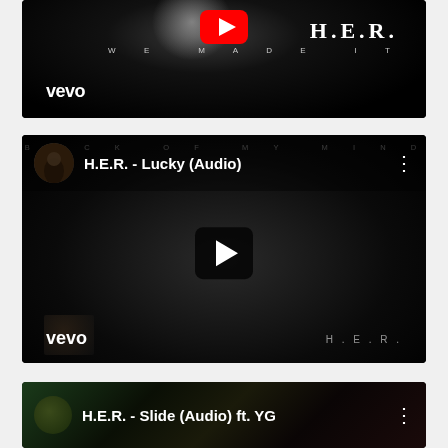[Figure (screenshot): YouTube/Vevo video thumbnail for H.E.R. 'We Made It' - dark moody image with Vevo logo, YouTube play button, and text 'H.E.R. WE MADE IT'. Top portion of card is cropped.]
[Figure (screenshot): YouTube video player showing H.E.R. - Lucky (Audio). Dark moody thumbnail with album art thumbnail, video title 'H.E.R. - Lucky (Audio)', three-dot menu, play button overlay, Vevo logo bottom left, H.E.R. text bottom right. Album title 'BACK OF MY MIND' faintly visible at top.]
[Figure (screenshot): Partially visible YouTube video card at bottom showing H.E.R. - Slide (Audio) ft. YG with colorful thumbnail.]